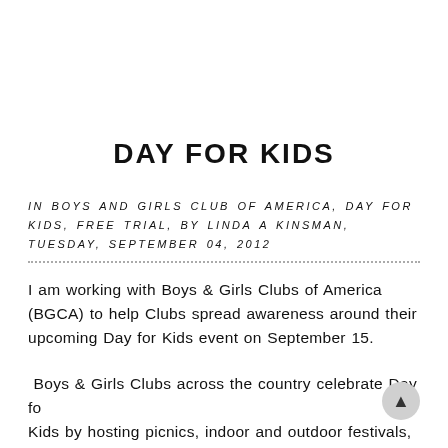DAY FOR KIDS
IN BOYS AND GIRLS CLUB OF AMERICA, DAY FOR KIDS, FREE TRIAL, BY LINDA A KINSMAN, TUESDAY, SEPTEMBER 04, 2012
I am working with Boys & Girls Clubs of America (BGCA) to help Clubs spread awareness around their upcoming Day for Kids event on September 15.
Boys & Girls Clubs across the country celebrate Day for Kids by hosting picnics, indoor and outdoor festivals, and walks for the entire community to enjoy. Last year more than 85,000 people attended 950 events held across the